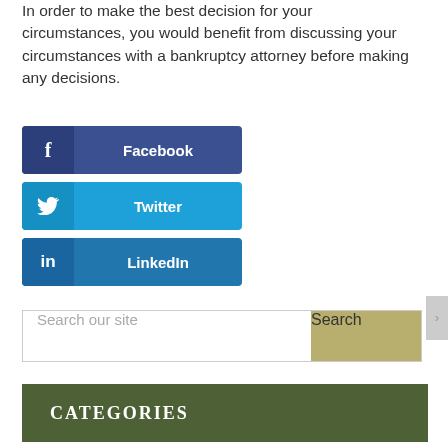In order to make the best decision for your circumstances, you would benefit from discussing your circumstances with a bankruptcy attorney before making any decisions.
[Figure (other): Three social share buttons: Facebook (dark blue), Twitter (light blue), LinkedIn (medium blue), each with icon on left and label text on right.]
[Figure (other): Search bar with placeholder 'Search our site' and a gold/olive 'Search' button on the right.]
CATEGORIES